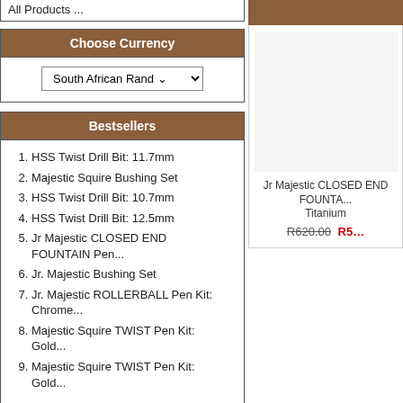All Products ...
Choose Currency
South African Rand
Bestsellers
1. HSS Twist Drill Bit: 11.7mm
2. Majestic Squire Bushing Set
3. HSS Twist Drill Bit: 10.7mm
4. HSS Twist Drill Bit: 12.5mm
5. Jr Majestic CLOSED END FOUNTAIN Pen...
6. Jr. Majestic Bushing Set
7. Jr. Majestic ROLLERBALL Pen Kit: Chrome...
8. Majestic Squire TWIST Pen Kit: Gold...
9. Majestic Squire TWIST Pen Kit: Gold...
Reviews  [more]
[Figure (other): Product image placeholder for Jr Majestic CLOSED END FOUNTAIN Pen, Titanium finish]
Jr Majestic CLOSED END FOUNTAIN Pen... Titanium R620.00 R5...